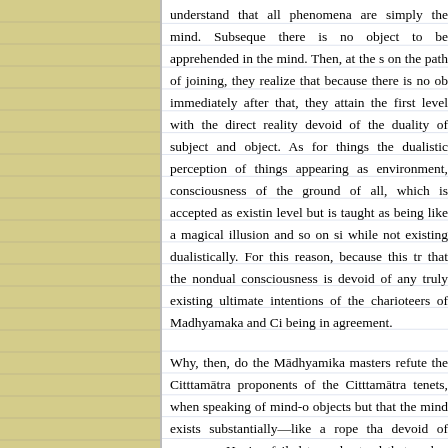understand that all phenomena are simply the mind. Subseq... there is no object to be apprehended in the mind. Then, at the si... on the path of joining, they realize that because there is no ob... immediately after that, they attain the first level with the direct... reality devoid of the duality of subject and object. As for things... the dualistic perception of things appearing as environment,... consciousness of the ground of all, which is accepted as existin... level but is taught as being like a magical illusion and so on si... while not existing dualistically. For this reason, because this tr... that the nondual consciousness is devoid of any truly existing... ultimate intentions of the charioteers of Madhyamaka and Ci... being in agreement.
Why, then, do the Mādhyamika masters refute the Cittamātra... proponents of the Cittamātra tenets, when speaking of mind-o... objects but that the mind exists substantially—like a rope tha... devoid of ropeness. Having failed to understand that such s... conventional point of view, they believe the nondual consciou... ultimate level. It is this tenet that the Mādhyamikas repudiate. ... thinking of Ārya Asaṅga, who correctly realized the mind-only pa...
Because of the mind, the phenomena of saṃsāra and nirvāṇa... would be no saṃsāra and no nirvāṇa. How? It is by the power... karma, subsequently producing the process of defilement that i...